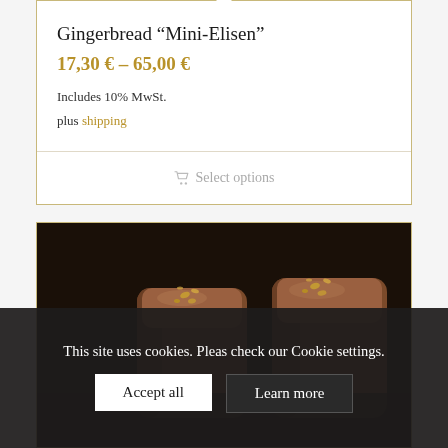Gingerbread “Mini-Elisen”
17,30 € – 65,00 €
Includes 10% MwSt.
plus shipping
Select options
[Figure (photo): Two chocolate gingerbread mini pieces with gold decorative sprinkles on top, positioned against a dark background]
This site uses cookies. Pleas check our Cookie settings.
Accept all
Learn more